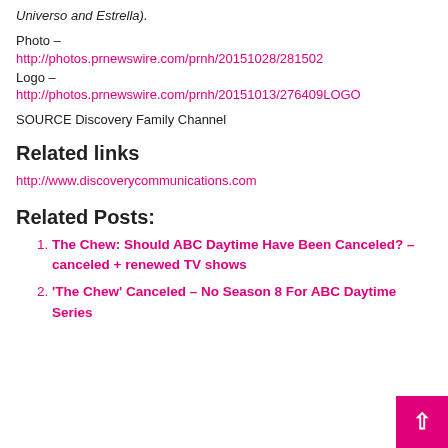Universo and Estrella).
Photo –
http://photos.prnewswire.com/prnh/20151028/281502
Logo –
http://photos.prnewswire.com/prnh/20151013/276409LOGO
SOURCE Discovery Family Channel
Related links
http://www.discoverycommunications.com
Related Posts:
The Chew: Should ABC Daytime Have Been Canceled? – canceled + renewed TV shows
'The Chew' Canceled – No Season 8 For ABC Daytime Series